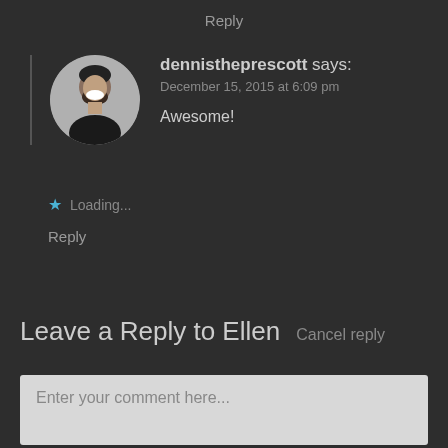Reply
dennistheprescott says:
December 15, 2015 at 6:09 pm

Awesome!
Loading...
Reply
Leave a Reply to Ellen
Cancel reply
Enter your comment here...